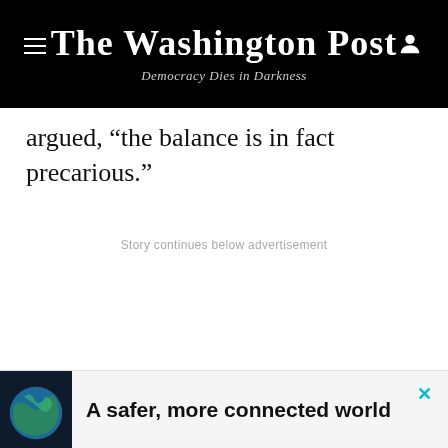The Washington Post
Democracy Dies in Darkness
argued, “the balance is in fact precarious.”
Story continues below advertisement
[Figure (infographic): Advertisement banner with Earth globe image and text: A safer, more connected world]